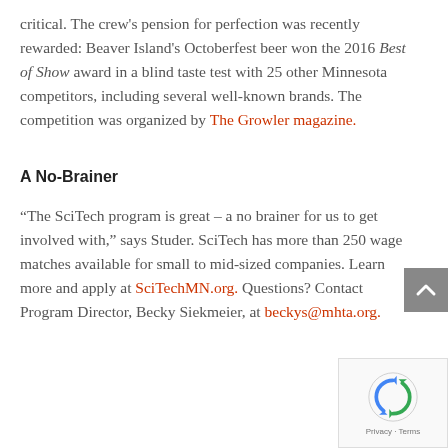critical. The crew's pension for perfection was recently rewarded: Beaver Island's Octoberfest beer won the 2016 Best of Show award in a blind taste test with 25 other Minnesota competitors, including several well-known brands. The competition was organized by The Growler magazine.
A No-Brainer
“The SciTech program is great – a no brainer for us to get involved with,” says Studer. SciTech has more than 250 wage matches available for small to mid-sized companies. Learn more and apply at SciTechMN.org. Questions? Contact Program Director, Becky Siekmeier, at beckys@mhta.org.